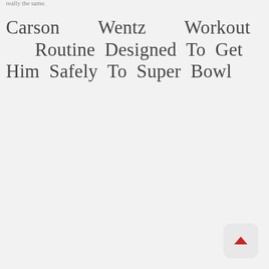really the same.
Carson Wentz Workout Routine Designed To Get Him Safely To Super Bowl